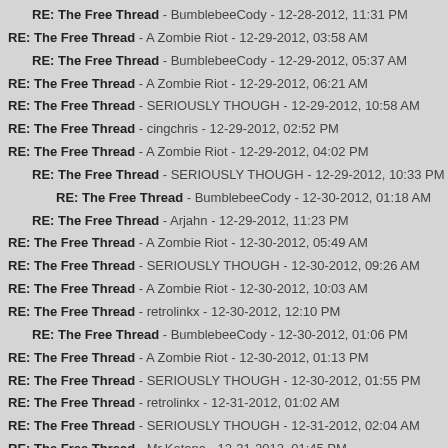RE: The Free Thread - BumblebeeCody - 12-28-2012, 11:31 PM
RE: The Free Thread - A Zombie Riot - 12-29-2012, 03:58 AM
RE: The Free Thread - BumblebeeCody - 12-29-2012, 05:37 AM
RE: The Free Thread - A Zombie Riot - 12-29-2012, 06:21 AM
RE: The Free Thread - SERIOUSLY THOUGH - 12-29-2012, 10:58 AM
RE: The Free Thread - cingchris - 12-29-2012, 02:52 PM
RE: The Free Thread - A Zombie Riot - 12-29-2012, 04:02 PM
RE: The Free Thread - SERIOUSLY THOUGH - 12-29-2012, 10:33 PM
RE: The Free Thread - BumblebeeCody - 12-30-2012, 01:18 AM
RE: The Free Thread - Arjahn - 12-29-2012, 11:23 PM
RE: The Free Thread - A Zombie Riot - 12-30-2012, 05:49 AM
RE: The Free Thread - SERIOUSLY THOUGH - 12-30-2012, 09:26 AM
RE: The Free Thread - A Zombie Riot - 12-30-2012, 10:03 AM
RE: The Free Thread - retrolinkx - 12-30-2012, 12:10 PM
RE: The Free Thread - BumblebeeCody - 12-30-2012, 01:06 PM
RE: The Free Thread - A Zombie Riot - 12-30-2012, 01:13 PM
RE: The Free Thread - SERIOUSLY THOUGH - 12-30-2012, 01:55 PM
RE: The Free Thread - retrolinkx - 12-31-2012, 01:02 AM
RE: The Free Thread - SERIOUSLY THOUGH - 12-31-2012, 02:04 AM
RE: The Free Thread - Mr.Katana - 12-31-2012, 01:45 PM
RE: The Free Thread - SERIOUSLY THOUGH - 12-31-2012, 01:57 PM
RE: The Free Thread - Zaliphone - 12-31-2012, 01:59 PM
RE: The Free Thread - SERIOUSLY THOUGH - 01-01-2013, 03:13 AM
RE: The Free Thread - BumblebeeCody - 01-01-2013, 04:46 AM
RE: The Free Thread - A Zombie Riot - 01-01-2013, 05:32 AM